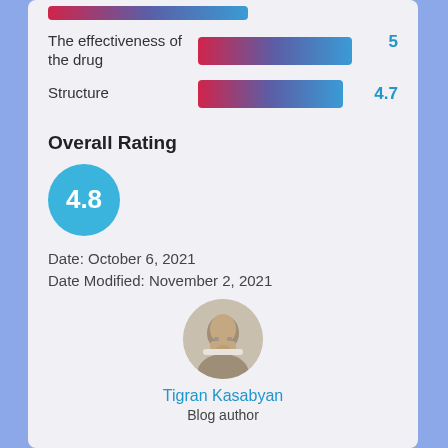The effectiveness of the drug
[Figure (bar-chart): The effectiveness of the drug]
Structure
[Figure (bar-chart): Structure]
Overall Rating
4.8
Date: October 6, 2021
Date Modified: November 2, 2021
Tigran Kasabyan
Blog author